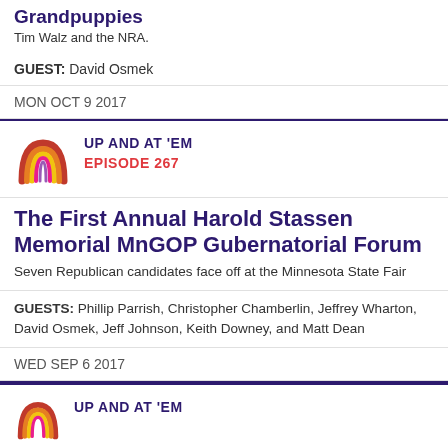Grandpuppies
Tim Walz and the NRA.
GUEST: David Osmek
MON OCT 9 2017
UP AND AT 'EM
EPISODE 267
The First Annual Harold Stassen Memorial MnGOP Gubernatorial Forum
Seven Republican candidates face off at the Minnesota State Fair
GUESTS: Phillip Parrish, Christopher Chamberlin, Jeffrey Wharton, David Osmek, Jeff Johnson, Keith Downey, and Matt Dean
WED SEP 6 2017
UP AND AT 'EM